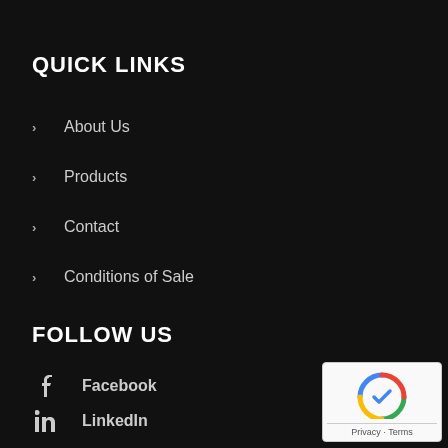QUICK LINKS
About Us
Products
Contact
Conditions of Sale
FOLLOW US
Facebook
LinkedIn
Instagram